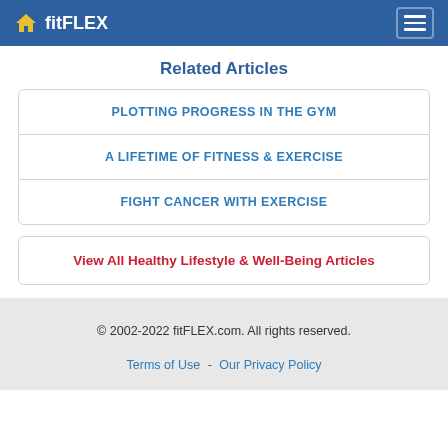fitFLEX
Related Articles
PLOTTING PROGRESS IN THE GYM
A LIFETIME OF FITNESS & EXERCISE
FIGHT CANCER WITH EXERCISE
View All Healthy Lifestyle & Well-Being Articles
© 2002-2022 fitFLEX.com. All rights reserved.
Terms of Use - Our Privacy Policy